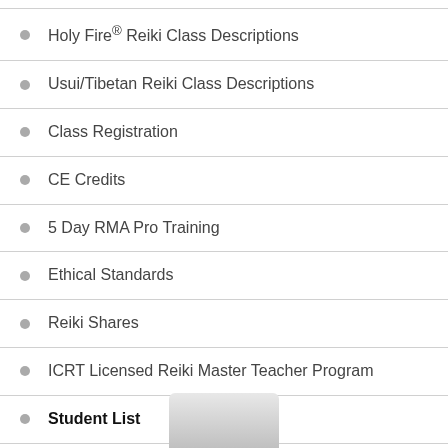Holy Fire® Reiki Class Descriptions
Usui/Tibetan Reiki Class Descriptions
Class Registration
CE Credits
5 Day RMA Pro Training
Ethical Standards
Reiki Shares
ICRT Licensed Reiki Master Teacher Program
Student List
Holy Fire® List